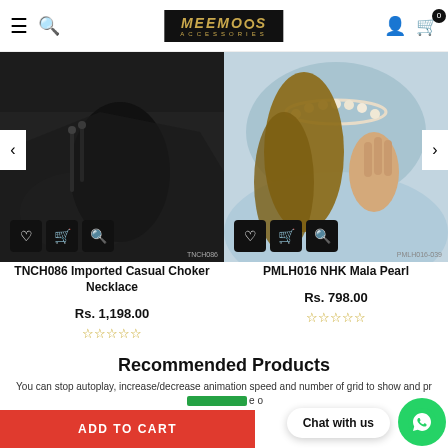Meemo's Accessories
[Figure (photo): Product image of TNCH086 Imported Casual Choker Necklace on dark background with action buttons (wishlist, cart, zoom)]
[Figure (photo): Product image of PMLH016 NHK Mala Pearl necklace on light blue background with action buttons (wishlist, cart, zoom)]
TNCH086 Imported Casual Choker Necklace
Rs. 1,198.00
☆☆☆☆☆
PMLH016 NHK Mala Pearl
Rs. 798.00
☆☆☆☆☆
Recommended Products
You can stop autoplay, increase/decrease animation speed and number of grid to show and pr... e o
ADD TO CART
Chat with us